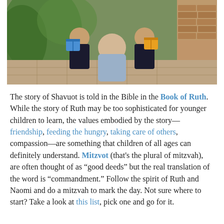[Figure (photo): A family photo showing an adult sitting cross-legged outdoors on a brick/paved surface with two young girls, all holding colorful gift boxes. Green foliage and brick structures in the background.]
The story of Shavuot is told in the Bible in the Book of Ruth. While the story of Ruth may be too sophisticated for younger children to learn, the values embodied by the story—friendship, feeding the hungry, taking care of others, compassion—are something that children of all ages can definitely understand. Mitzvot (that's the plural of mitzvah), are often thought of as "good deeds" but the real translation of the word is "commandment." Follow the spirit of Ruth and Naomi and do a mitzvah to mark the day. Not sure where to start? Take a look at this list, pick one and go for it.